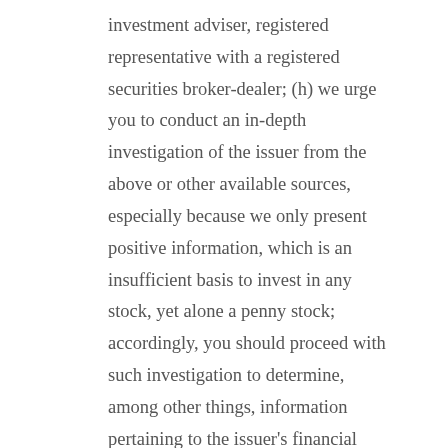investment adviser, registered representative with a registered securities broker-dealer; (h) we urge you to conduct an in-depth investigation of the issuer from the above or other available sources, especially because we only present positive information, which is an insufficient basis to invest in any stock, yet alone a penny stock; accordingly, you should proceed with such investigation to determine, among other things, information pertaining to the issuer's financial condition, operations, business model, and risks involved in the issuer's business; (i) the issuers we profile may have negative signs on the otcmarkets.com website (i.e. Stop Sign, No Information, Limited Information, Caveat Emptor), which you should determine from entering the symbol of the stock